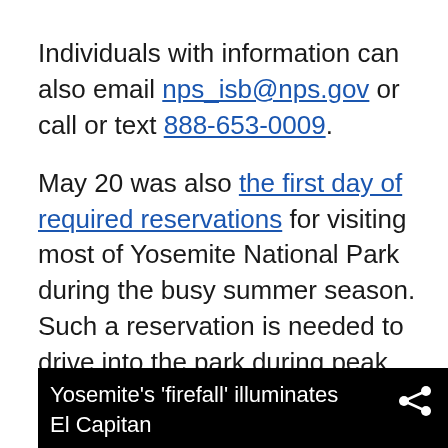Individuals with information can also email nps_isb@nps.gov or call or text 888-653-0009.

May 20 was also the first day of required reservations for visiting most of Yosemite National Park during the busy summer season. Such a reservation is needed to drive into the park during peak hours of 6 a.m. to 4 p.m. through Sept. 30, 2022.

More than 3.3 million people visited the park in 2021, alone.
[Figure (screenshot): Video thumbnail with black background showing title text: Yosemite's 'firefall' illuminates El Capitan, with a share icon in the top right corner.]